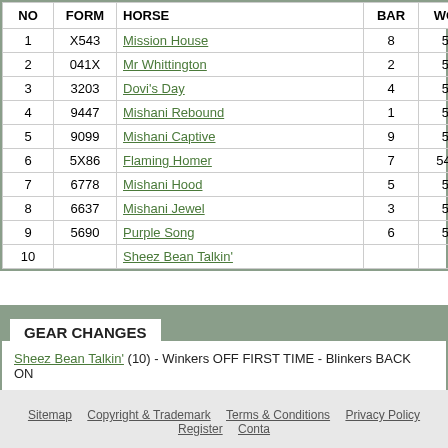| NO | FORM | HORSE | BAR | WGT | NA |
| --- | --- | --- | --- | --- | --- |
| 1 | X543 | Mission House | 8 | 58 | S… |
| 2 | 041X | Mr Whittington | 2 | 58 | N |
| 3 | 3203 | Dovi's Day | 4 | 56 | Ja |
| 4 | 9447 | Mishani Rebound | 1 | 56 | Le |
| 5 | 9099 | Mishani Captive | 9 | 55 | Ja |
| 6 | 5X86 | Flaming Homer | 7 | 54.5 | Ali |
| 7 | 6778 | Mishani Hood | 5 | 54 | Ni |
| 8 | 6637 | Mishani Jewel | 3 | 54 | Ta |
| 9 | 5690 | Purple Song | 6 | 54 | N |
| 10 |  | Sheez Bean Talkin' |  |  | SC |
GEAR CHANGES
Sheez Bean Talkin' (10) - Winkers OFF FIRST TIME - Blinkers BACK ON
Sitemap  Copyright & Trademark  Terms & Conditions  Privacy Policy  Register  Conta…